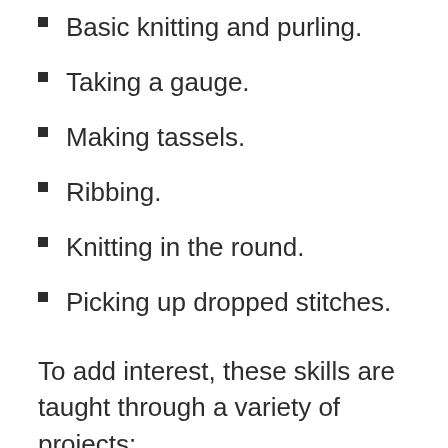Basic knitting and purling.
Taking a gauge.
Making tassels.
Ribbing.
Knitting in the round.
Picking up dropped stitches.
To add interest, these skills are taught through a variety of projects:
Scarves.
Patchwork afghans.
Puppets.
Backpacks.